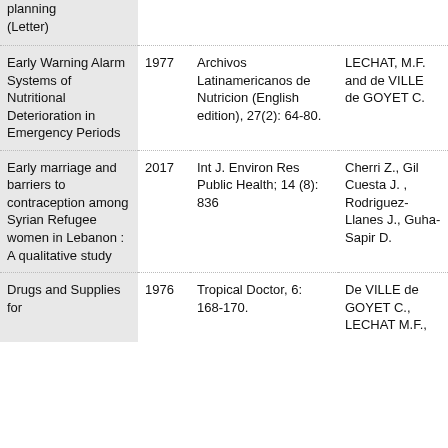| Title | Year | Journal/Source | Authors |
| --- | --- | --- | --- |
| planning (Letter) |  |  |  |
| Early Warning Alarm Systems of Nutritional Deterioration in Emergency Periods | 1977 | Archivos Latinamericanos de Nutricion (English edition), 27(2): 64-80. | LECHAT, M.F. and de VILLE de GOYET C. |
| Early marriage and barriers to contraception among Syrian Refugee women in Lebanon : A qualitative study | 2017 | Int J. Environ Res Public Health; 14 (8): 836 | Cherri Z., Gil Cuesta J. , Rodriguez-Llanes J., Guha-Sapir D. |
| Drugs and Supplies for | 1976 | Tropical Doctor, 6: 168-170. | De VILLE de GOYET C., LECHAT M.F., |